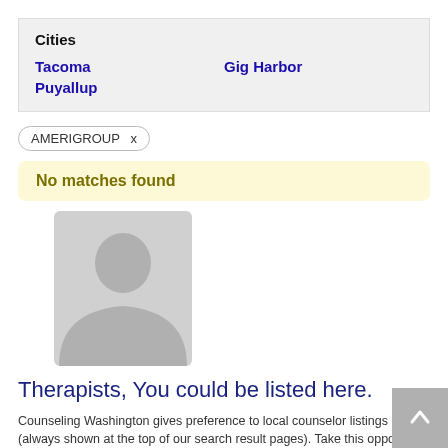Cities
Tacoma
Gig Harbor
Puyallup
AMERIGROUP  x
No matches found
[Figure (illustration): Generic grey silhouette/avatar of a person (placeholder image for a therapist profile)]
Therapists, You could be listed here.
Counseling Washington gives preference to local counselor listings (always shown at the top of our search result pages). Take this opportunity to list your practice in Washington State's Most Trusted Counselor/Therapist Directory.